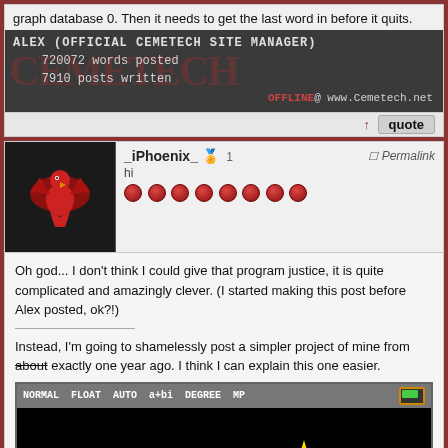graph database 0. Then it needs to get the last word in before it quits.
[Figure (other): Alex user info bar with Cemetech watermark, showing ALEX (OFFICIAL CEMETECH SITE MANAGER), 720072 words posted, 7910 posts written, OFFLINE @ www.Cemetech.net]
[Figure (other): Quote bar with up arrow and quote button]
[Figure (other): _iPhoenix_ user avatar, dark background with red phoenix bird, username, hi title, pips, Permalink, post count 1]
Oh god... I don't think I could give that program justice, it is quite complicated and amazingly clever. (I started making this post before Alex posted, ok?!)
Instead, I'm going to shamelessly post a simpler project of mine from about exactly one year ago. I think I can explain this one easier.
[Figure (screenshot): TI calculator screenshot showing NORMAL FLOAT AUTO a+bi DEGREE MP header bar with battery icon, and a black screen displaying a pixel-art snowman next to a Christmas tree with a star on top and a present underneath.]